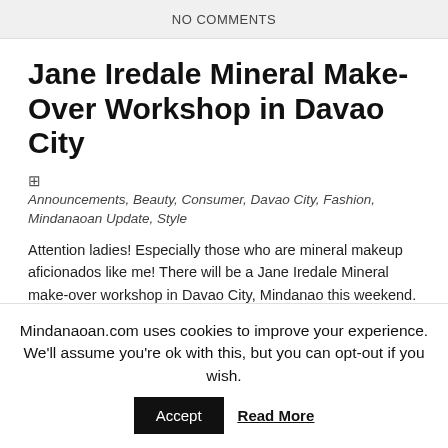NO COMMENTS
Jane Iredale Mineral Make-Over Workshop in Davao City
Announcements, Beauty, Consumer, Davao City, Fashion, Mindanaoan Update, Style
Attention ladies! Especially those who are mineral makeup aficionados like me! There will be a Jane Iredale Mineral make-over workshop in Davao City, Mindanao this weekend. Davao City store Chimes Specialty Store and Jane Iredale will sponsor this event, which will take place on Saturday, April 25, 2009. First Batch: 1:30pm - 3:30pm
Mindanaoan.com uses cookies to improve your experience. We'll assume you're ok with this, but you can opt-out if you wish.